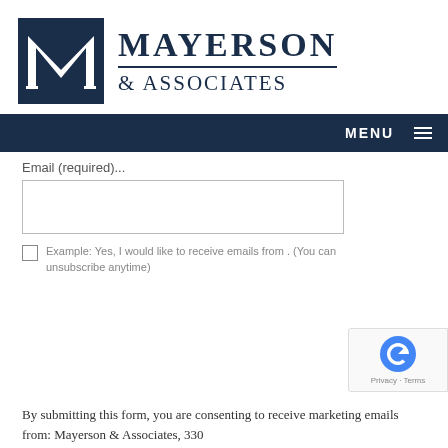[Figure (logo): Mayerson & Associates law firm logo with dark navy M lettermark in square and firm name in uppercase serif text]
MENU
Email (required)...
Example: Yes, I would like to receive emails from . (You can unsubscribe anytime)
By submitting this form, you are consenting to receive marketing emails from: Mayerson & Associates, 330